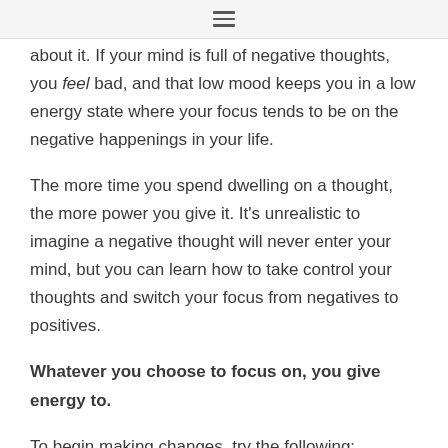☰
about it. If your mind is full of negative thoughts, you feel bad, and that low mood keeps you in a low energy state where your focus tends to be on the negative happenings in your life.
The more time you spend dwelling on a thought, the more power you give it. It's unrealistic to imagine a negative thought will never enter your mind, but you can learn how to take control your thoughts and switch your focus from negatives to positives.
Whatever you choose to focus on, you give energy to.
To begin making changes, try the following: